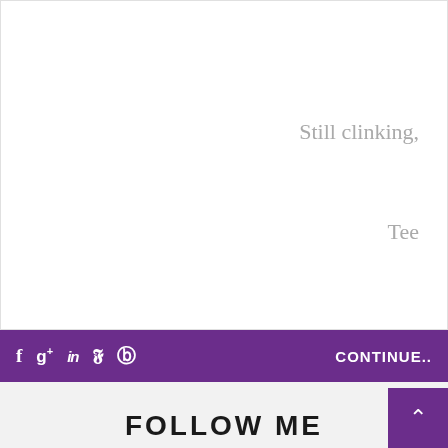Still clinking,
Tee
[Figure (infographic): Purple social media bar with Facebook, Google+, LinkedIn, Twitter, Pinterest icons on the left, and 'CONTINUE..' text on the right]
FOLLOW ME
[Figure (logo): Purple Instagram camera icon with right-pointing arrow, and a purple back-to-top button in the bottom right corner]